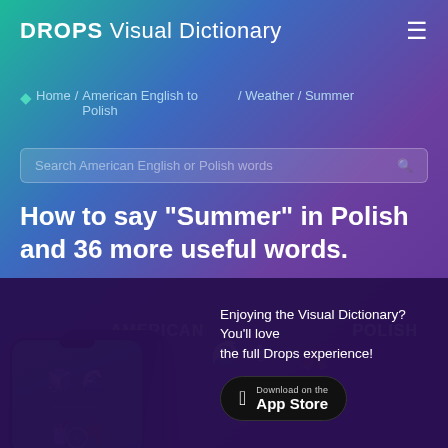DROPS Visual Dictionary
Home / American English to Polish / Weather / Summer
Search American English or Polish words
How to say "Summer" in Polish and 36 more useful words.
AMERICAN
POLISH
[Figure (screenshot): Two smartphones showing the Drops language learning app interface with illustrated vocabulary items]
Enjoying the Visual Dictionary? You'll love the full Drops experience!
[Figure (logo): Download on the App Store button]